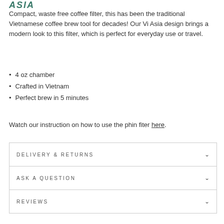ASIA
Compact, waste free coffee filter, this has been the traditional Vietnamese coffee brew tool for decades! Our Vi Asia design brings a modern look to this filter, which is perfect for everyday use or travel.
4 oz chamber
Crafted in Vietnam
Perfect brew in 5 minutes
Watch our instruction on how to use the phin fiter here.
DELIVERY & RETURNS
ASK A QUESTION
REVIEWS